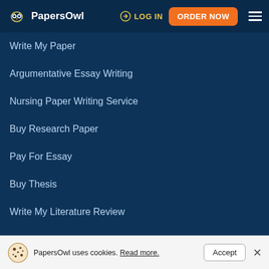PapersOwl | LOG IN | ORDER NOW
Write My Paper
Argumentative Essay Writing
Nursing Paper Writing Service
Buy Research Paper
Pay For Essay
Buy Thesis
Write My Literature Review
Buy Research Proposal
About Us
PapersOwl uses cookies. Read more.